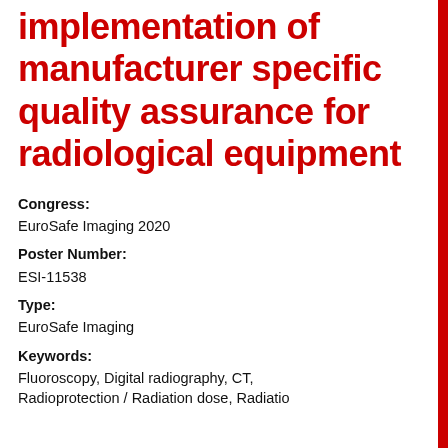implementation of manufacturer specific quality assurance for radiological equipment
Congress:
EuroSafe Imaging 2020
Poster Number:
ESI-11538
Type:
EuroSafe Imaging
Keywords:
Fluoroscopy, Digital radiography, CT, Radioprotection / Radiation dose, Radiation